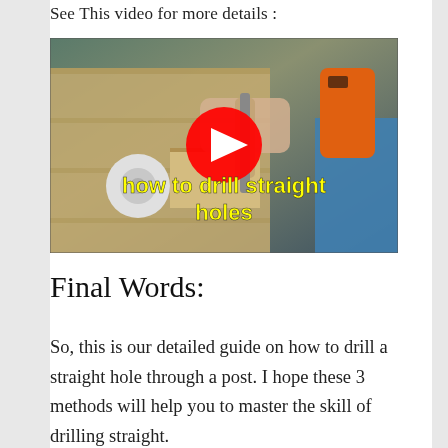See This video for more details :
[Figure (screenshot): YouTube video thumbnail showing hands drilling into wood, with white tape roll, orange drill, and blue tape visible. Yellow bold text overlaid reads 'how to drill straight holes' with a red YouTube play button in the center.]
Final Words:
So, this is our detailed guide on how to drill a straight hole through a post. I hope these 3 methods will help you to master the skill of drilling straight.